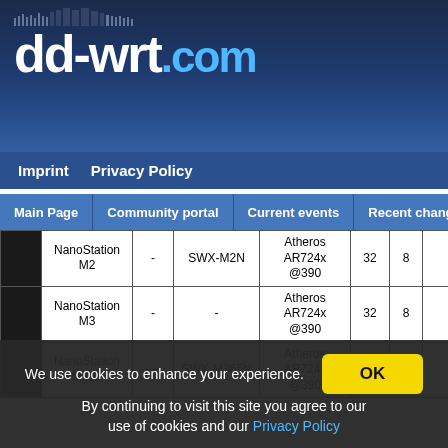[Figure (screenshot): dd-wrt.com website header with logo and navigation]
dd-wrt.com
Imprint   Privacy Policy
Main Page | Community portal | Current events | Recent changes
|  | Device | - | Model | CPU | RAM | Flash | WiFi |
| --- | --- | --- | --- | --- | --- | --- | --- |
|  | NanoStation M2 | - | SWX-M2N | Atheros AR724x @390 | 32 | 8 | Atheros AR928x @29dBm |
|  | NanoStation M3 | - | - | Atheros AR724x @390 | 32 | 8 | Atheros AR928x @29dBm |
|  | NanoStation M365 | - | SWX-M365N | Atheros AR724x @390 | 32 | 8 | Atheros AR928x @25dBm |
We use cookies to enhance your experience. By continuing to visit this site you agree to our use of cookies and our Privacy Policy